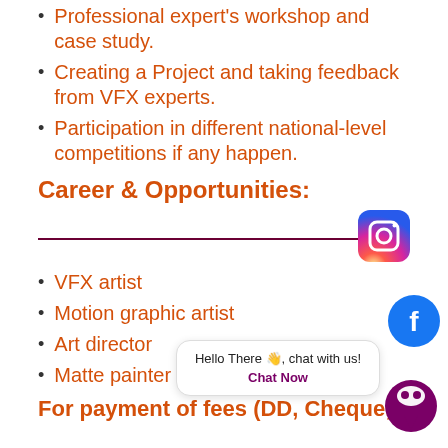Professional expert's workshop and case study.
Creating a Project and taking feedback from VFX experts.
Participation in different national-level competitions if any happen.
Career & Opportunities:
VFX artist
Motion graphic artist
Art director
Matte painter
For payment of fees (DD, Cheque,